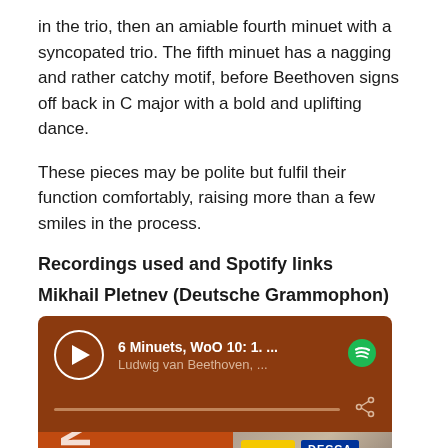in the trio, then an amiable fourth minuet with a syncopated trio. The fifth minuet has a nagging and rather catchy motif, before Beethoven signs off back in C major with a bold and uplifting dance.
These pieces may be polite but fulfil their function comfortably, raising more than a few smiles in the process.
Recordings used and Spotify links
Mikhail Pletnev (Deutsche Grammophon)
[Figure (screenshot): Spotify embedded player showing '6 Minuets, WoO 10: 1. ...' by Ludwig van Beethoven, with Deutsche Grammophon and Decca album art below]